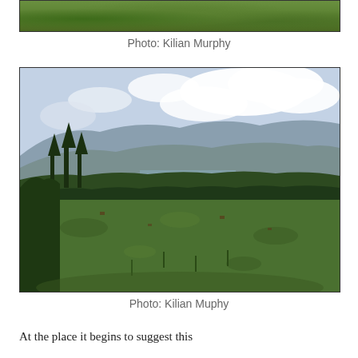[Figure (photo): Partial landscape photo showing green grassy terrain, cropped at top of page]
Photo: Kilian Murphy
[Figure (photo): Landscape photo showing a cleared forest area with green ground cover, rows of pine trees in middle distance, rolling hills and mountains in background under a partly cloudy sky]
Photo: Kilian Muphy
At the place it begins to suggest this